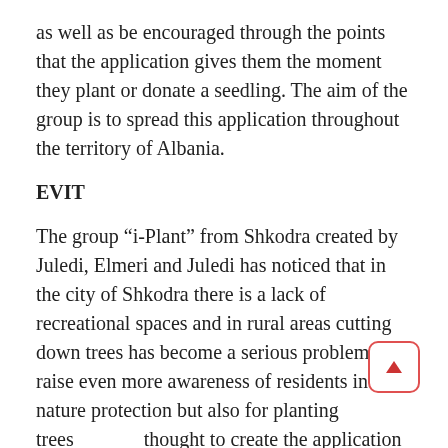as well as be encouraged through the points that the application gives them the moment they plant or donate a seedling. The aim of the group is to spread this application throughout the territory of Albania.
EVIT
The group “i-Plant” from Shkodra created by Juledi, Elmeri and Juledi has noticed that in the city of Shkodra there is a lack of recreational spaces and in rural areas cutting down trees has become a serious problem. To raise even more awareness of residents in nature protection but also for planting trees thought to create the application “i-Plant.” This application will enable young people but not only,